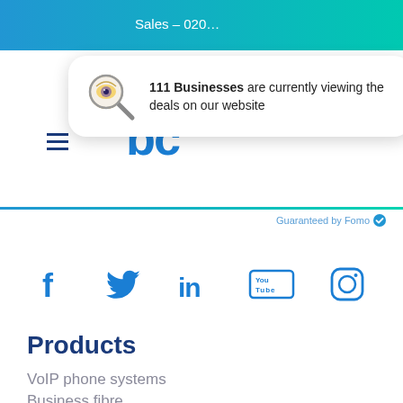Sales – 020…
[Figure (screenshot): FOMO notification popup showing eye/magnifying glass logo and text: 111 Businesses are currently viewing the deals on our website]
Guaranteed by Fomo
[Figure (infographic): Social media icons: Facebook, Twitter, LinkedIn, YouTube, Instagram — all in blue]
Products
VoIP phone systems
Business fibre
Business broadband